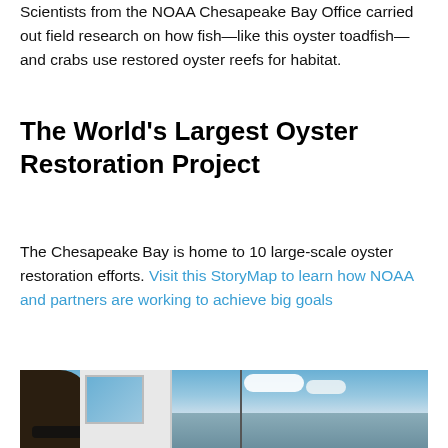Scientists from the NOAA Chesapeake Bay Office carried out field research on how fish—like this oyster toadfish—and crabs use restored oyster reefs for habitat.
The World's Largest Oyster Restoration Project
The Chesapeake Bay is home to 10 large-scale oyster restoration efforts. Visit this StoryMap to learn how NOAA and partners are working to achieve big goals
[Figure (photo): A person with sunglasses visible on the left, a white boat cabin structure in the center, and a blue sky with clouds and water in the background.]